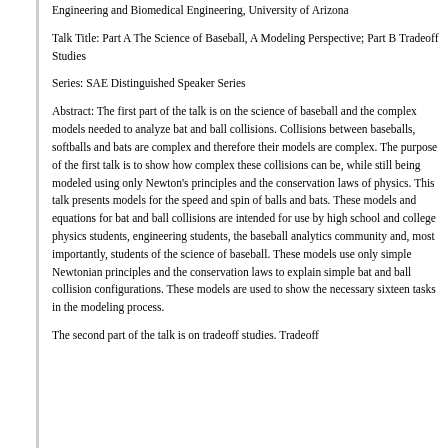Engineering and Biomedical Engineering, University of Arizona
Talk Title: Part A The Science of Baseball, A Modeling Perspective; Part B Tradeoff Studies
Series: SAE Distinguished Speaker Series
Abstract: The first part of the talk is on the science of baseball and the complex models needed to analyze bat and ball collisions. Collisions between baseballs, softballs and bats are complex and therefore their models are complex. The purpose of the first talk is to show how complex these collisions can be, while still being modeled using only Newton's principles and the conservation laws of physics. This talk presents models for the speed and spin of balls and bats. These models and equations for bat and ball collisions are intended for use by high school and college physics students, engineering students, the baseball analytics community and, most importantly, students of the science of baseball. These models use only simple Newtonian principles and the conservation laws to explain simple bat and ball collision configurations. These models are used to show the necessary sixteen tasks in the modeling process.
The second part of the talk is on tradeoff studies. Tradeoff